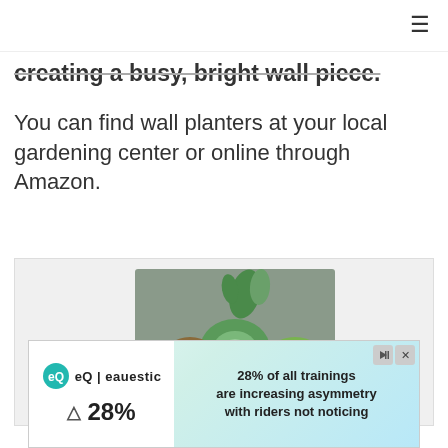creating a busy, bright wall piece.
You can find wall planters at your local gardening center or online through Amazon.
[Figure (photo): A square wall planter filled with various green succulent plants against a gray background]
[Figure (other): Advertisement banner for Equestic showing '28% of all trainings are increasing asymmetry with riders not noticing']